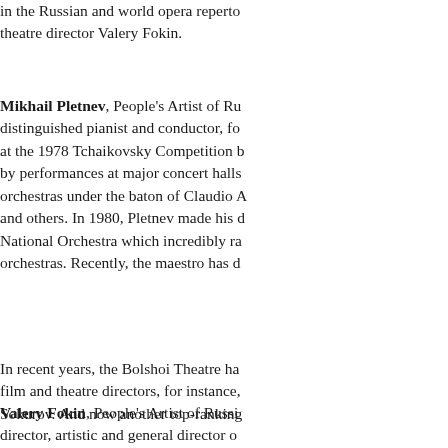in the Russian and world opera repertoire, with theatre director Valery Fokin.
Mikhail Pletnev, People's Artist of Russia, distinguished pianist and conductor, following his triumph at the 1978 Tchaikovsky Competition became known by performances at major concert halls with leading orchestras under the baton of Claudio Abbado, and others. In 1980, Pletnev made his debut at the National Orchestra which incredibly raised the standards of orchestras. Recently, the maestro has d...
In recent years, the Bolshoi Theatre has invited film and theatre directors, for instance, Alexander Sokurov. And now another top-ranking...
Valery Fokin, People's Artist of Russia, theatre director, artistic and general director of St. Petersburg's Russian State Academic A... over 70 productions to his name at the...